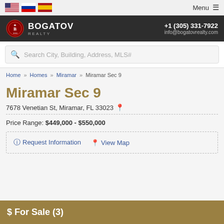Menu
[Figure (logo): Bogatov Realty logo with emblem, company name, phone +1 (305) 331-7922, email info@bogatovrealty.com]
Search City, Building, Address, MLS#
Home » Homes » Miramar » Miramar Sec 9
Miramar Sec 9
7678 Venetian St, Miramar, FL 33023
Price Range: $449,000 - $550,000
Request Information   View Map
$ For Sale (3)